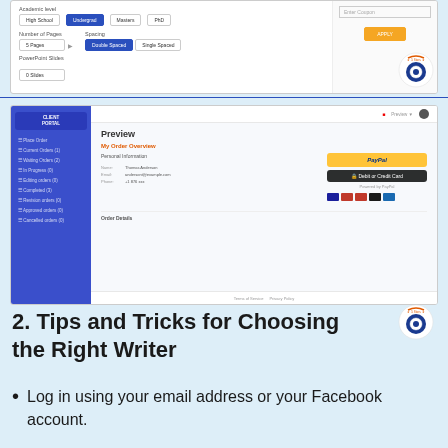[Figure (screenshot): Screenshot of an order form showing Academic Level options (High School, Undergrad selected in blue, Masters, PhD), Number of Pages, Spacing (Double Spaced selected), PowerPoint Slides fields, and a coupon/apply section on the right with an orange Apply button.]
[Figure (screenshot): Screenshot of a client portal showing a sidebar with menu items (Place Order, Current Orders, Waiting Orders, In Progress, Editing Orders, Completed, Revision orders, Approved orders, Cancelled orders), a main content area with Preview heading, My Order Overview section, Personal Information form, PayPal and Debit/Credit Card payment buttons, payment provider logos, and form fields for Name, Email, Phone. Order Details section at bottom.]
2. Tips and Tricks for Choosing the Right Writer
Log in using your email address or your Facebook account.